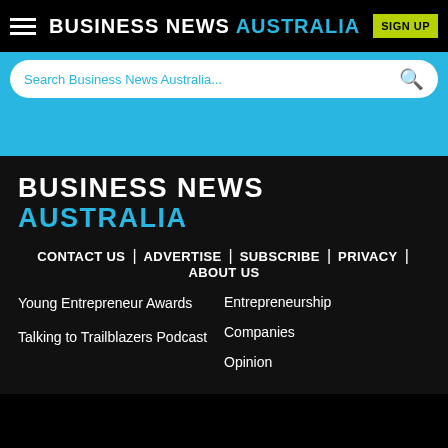BUSINESS NEWS AUSTRALIA
Search Business News Australia...
[Figure (logo): Business News Australia footer logo with white and blue text]
CONTACT US | ADVERTISE | SUBSCRIBE | PRIVACY | ABOUT US
Young Entrepreneur Awards
Talking to Trailblazers Podcast
Entrepreneurship
Companies
Opinion